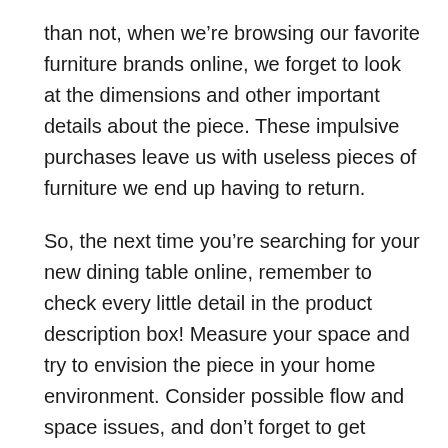than not, when we're browsing our favorite furniture brands online, we forget to look at the dimensions and other important details about the piece. These impulsive purchases leave us with useless pieces of furniture we end up having to return.
So, the next time you're searching for your new dining table online, remember to check every little detail in the product description box! Measure your space and try to envision the piece in your home environment. Consider possible flow and space issues, and don't forget to get everything measured!